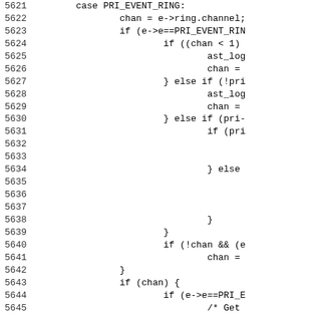[Figure (screenshot): Source code listing showing C code lines 5621-5652, with line numbers on the left and code on the right. The code handles a PRI_EVENT_RING case with channel assignment and conditional logic.]